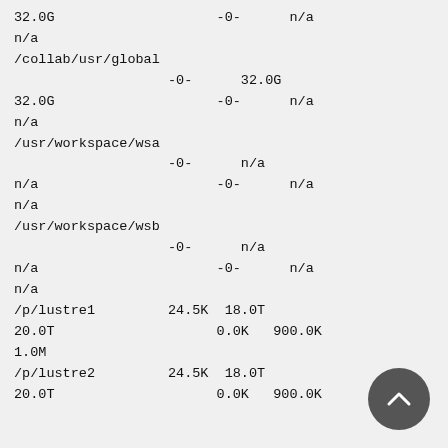32.0G                    -0-      n/a
n/a
/collab/usr/global
                   -0-      32.0G
32.0G                    -0-      n/a
n/a
/usr/workspace/wsa
                   -0-      n/a
n/a                      -0-      n/a
n/a
/usr/workspace/wsb
                   -0-      n/a
n/a                      -0-      n/a
n/a
/p/lustre1         24.5K  18.0T
20.0T                    0.0K   900.0K
1.0M
/p/lustre2         24.5K  18.0T
20.0T                    0.0K   900.0K